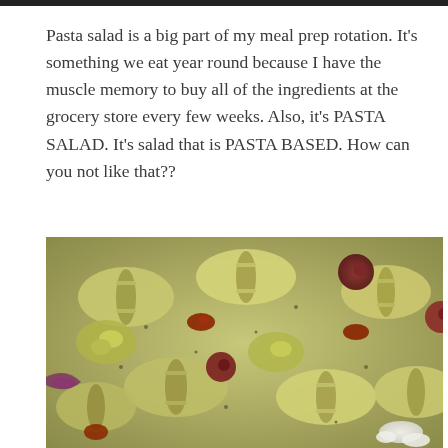Pasta salad is a big part of my meal prep rotation. It's something we eat year round because I have the muscle memory to buy all of the ingredients at the grocery store every few weeks. Also, it's PASTA SALAD. It's salad that is PASTA BASED. How can you not like that??
[Figure (photo): Close-up photograph of pasta salad with bowtie/farfalle pasta, artichoke hearts, sun-dried tomatoes, olives, red onion, and feta cheese, coated in a pesto or herb dressing.]